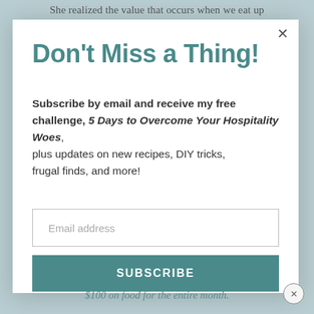She realized the value that occurs when we eat up
Don't Miss a Thing!
Subscribe by email and receive my free challenge, 5 Days to Overcome Your Hospitality Woes, plus updates on new recipes, DIY tricks, frugal finds, and more!
Email address
SUBSCRIBE
$100 on food for the entire month.